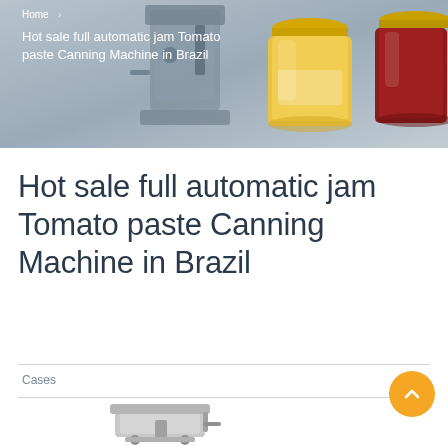[Figure (photo): Hero banner with canning machine on left and jam jars (yellow and red) on right, grey background]
Home > Hot sale full automatic jam Tomato paste Canning Machine in Brazil
Hot sale full automatic jam Tomato paste Canning Machine in Brazil
Cases
[Figure (photo): Canning machine equipment photo at bottom of page]